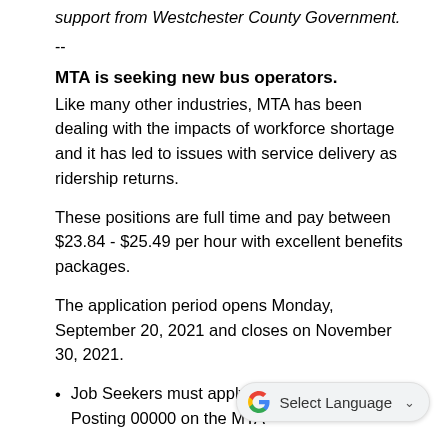support from Westchester County Government.
--
MTA is seeking new bus operators. Like many other industries, MTA has been dealing with the impacts of workforce shortage and it has led to issues with service delivery as ridership returns.
These positions are full time and pay between $23.84 - $25.49 per hour with excellent benefits packages.
The application period opens Monday, September 20, 2021 and closes on November 30, 2021.
Job Seekers must apply directly through Job Posting 00000 on the MTA